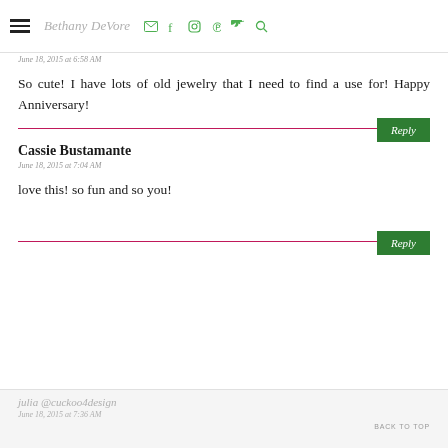Bethany DeVore
June 18, 2015 at 6:58 AM
So cute! I have lots of old jewelry that I need to find a use for! Happy Anniversary!
Reply
Cassie Bustamante
June 18, 2015 at 7:04 AM
love this! so fun and so you!
Reply
julia @cuckoo4design
June 18, 2015 at 7:36 AM
BACK TO TOP